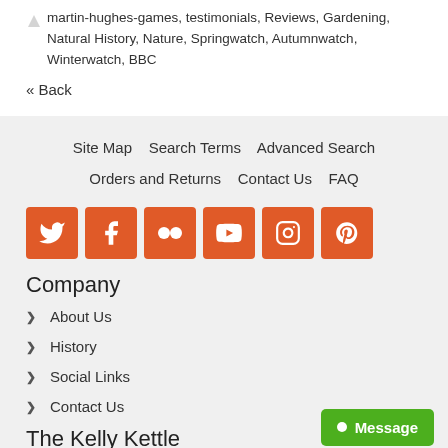martin-hughes-games, testimonials, Reviews, Gardening, Natural History, Nature, Springwatch, Autumnwatch, Winterwatch, BBC
« Back
Site Map   Search Terms   Advanced Search   Orders and Returns   Contact Us   FAQ
[Figure (other): Social media icons: Twitter, Facebook, Flickr, YouTube, Instagram, Pinterest — all orange square buttons with white icons]
Company
About Us
History
Social Links
Contact Us
The Kelly Kettle